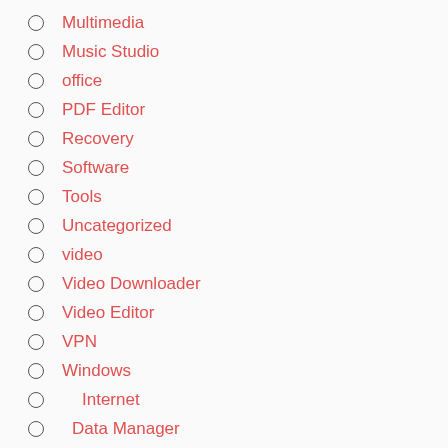Multimedia
Music Studio
office
PDF Editor
Recovery
Software
Tools
Uncategorized
video
Video Downloader
Video Editor
VPN
Windows
Internet
Data Manager